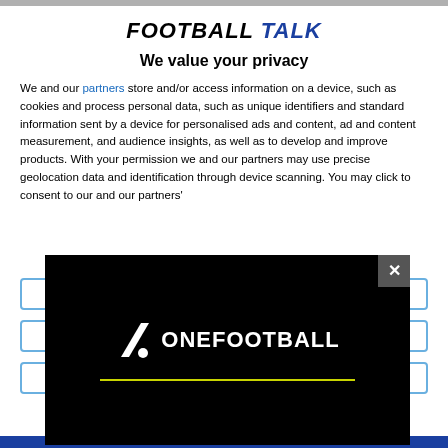FOOTBALL TALK
We value your privacy
We and our partners store and/or access information on a device, such as cookies and process personal data, such as unique identifiers and standard information sent by a device for personalised ads and content, ad and content measurement, and audience insights, as well as to develop and improve products. With your permission we and our partners may use precise geolocation data and identification through device scanning. You may click to consent to our and our partners'
[Figure (screenshot): OneFootball advertisement overlay on black background with OneFootball logo (stylized number 1 slash icon and ONEFOOTBALL wordmark in white) and a yellow horizontal line. A close button (X) is in the top right corner of the overlay.]